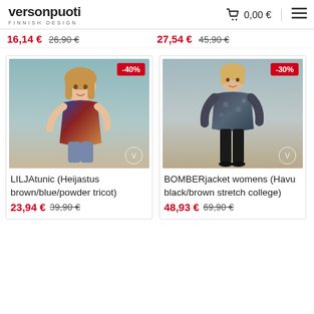versonpuoti FINNISH DESIGN | 0,00 € | menu
16,14 € 26,90 €  |  27,54 € 45,90 €
[Figure (photo): Child model wearing a colorful tunic (brown/blue/powder tricot) with a -40% discount badge]
LILJAtunic (Heijastus brown/blue/powder tricot)
23,94 € 39,90 €
[Figure (photo): Adult woman model wearing a BOMBER jacket (Havu black/brown stretch college) with a -30% discount badge]
BOMBERjacket womens (Havu black/brown stretch college)
48,93 € 69,90 €